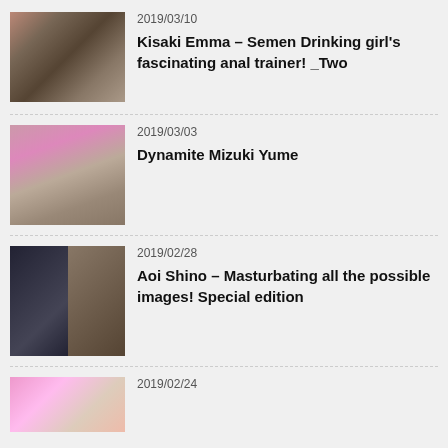[Figure (photo): Thumbnail image for first entry]
2019/03/10
Kisaki Emma – Semen Drinking girl's fascinating anal trainer! _Two
[Figure (photo): Thumbnail image for second entry]
2019/03/03
Dynamite Mizuki Yume
[Figure (photo): Thumbnail image for third entry]
2019/02/28
Aoi Shino – Masturbating all the possible images! Special edition
[Figure (photo): Thumbnail image for fourth entry (partial)]
2019/02/24